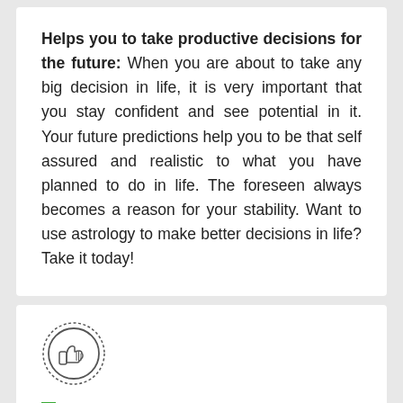Helps you to take productive decisions for the future: When you are about to take any big decision in life, it is very important that you stay confident and see potential in it. Your future predictions help you to be that self assured and realistic to what you have planned to do in life. The foreseen always becomes a reason for your stability. Want to use astrology to make better decisions in life? Take it today!
[Figure (illustration): A circular badge/seal icon with a thumbs-up hand gesture inside, rendered in an outline/stamp style with a dotted border ring.]